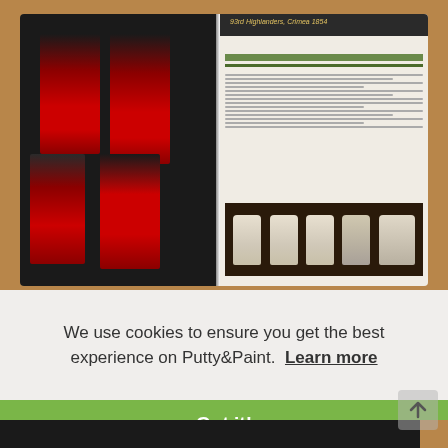[Figure (photo): Open book on wooden table showing illustrated pages of Scottish Highland soldiers in red uniforms with tall black bearskin hats (93rd Highlanders, Crimea 1854), alongside text pages with multiple columns and a row of white plaster/clay busts at the bottom right page.]
We use cookies to ensure you get the best experience on Putty&Paint.  Learn more
Got it!
[Figure (photo): Partial view of another open book on the wooden table, visible only as a thin strip at the bottom of the page.]